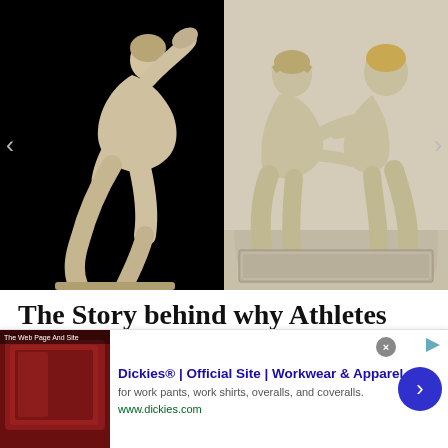[Figure (photo): Two ancient Greek sculptures side by side. Left: the Discobolus (discus thrower) marble statue on a black background, showing an athlete in twisted pose mid-throw. Right: an ancient Greek marble relief showing two wrestlers grappling, on a stone-colored background.]
The Story behind why Athletes Competed Naked in the Ancient
[Figure (photo): Advertisement: Dickies® | Official Site | Workwear & Apparel. Thumbnail shows what appears to be leather/fabric items. for work pants, work shirts, overalls, and coveralls. www.dickies.com]